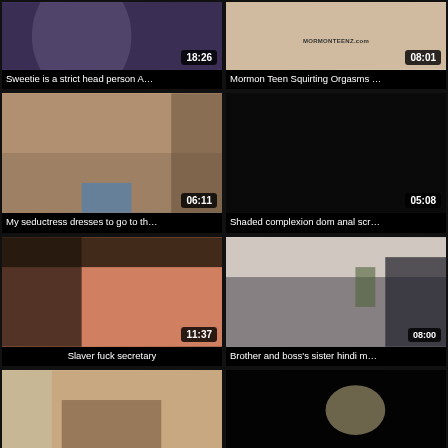[Figure (screenshot): Video thumbnail - person with purple hair, dark background, duration 18:26]
Sweetie is a strict head person A…
[Figure (screenshot): Video thumbnail - light colored scene, MORMONTEENZ.com watermark, duration 08:01]
Mormon Teen Squirting Orgasms …
[Figure (screenshot): Video thumbnail - duration 06:11]
My seductress dresses to go to th…
[Figure (screenshot): Video thumbnail - black background, duration 05:08]
Shaded complexion dom anal scr…
[Figure (screenshot): Video thumbnail - duration 11:37]
Slaver fuck secretary
[Figure (screenshot): Video thumbnail - indoor scene, duration 08:00]
Brother and boss's sister hindi m…
[Figure (screenshot): Video thumbnail - partial view]
[Figure (screenshot): Video thumbnail - dark scene]